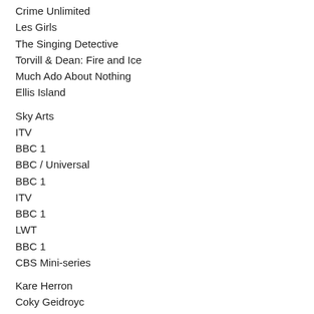Crime Unlimited
Les Girls
The Singing Detective
Torvill & Dean: Fire and Ice
Much Ado About Nothing
Ellis Island
Sky Arts
ITV
BBC 1
BBC / Universal
BBC 1
ITV
BBC 1
LWT
BBC 1
CBS Mini-series
Kare Herron
Coky Geidroyc
Michael Kerrigan
Trevor Nunn